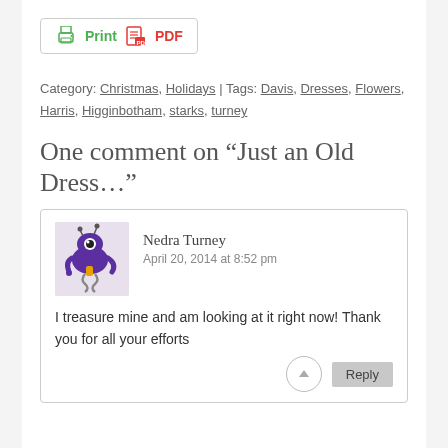[Figure (other): Print and PDF button with printer icon and PDF icon]
Category: Christmas, Holidays | Tags: Davis, Dresses, Flowers, Harris, Higginbotham, starks, turney
One comment on “Just an Old Dress…”
Nedra Turney
April 20, 2014 at 8:52 pm
I treasure mine and am looking at it right now! Thank you for all your efforts